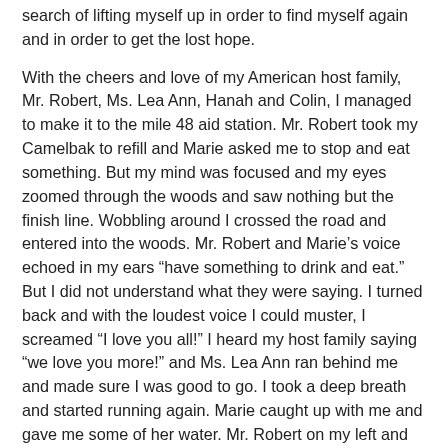search of lifting myself up in order to find myself again and in order to get the lost hope.
With the cheers and love of my American host family, Mr. Robert, Ms. Lea Ann, Hanah and Colin, I managed to make it to the mile 48 aid station. Mr. Robert took my Camelbak to refill and Marie asked me to stop and eat something. But my mind was focused and my eyes zoomed through the woods and saw nothing but the finish line. Wobbling around I crossed the road and entered into the woods. Mr. Robert and Marie's voice echoed in my ears “have something to drink and eat.” But I did not understand what they were saying. I turned back and with the loudest voice I could muster, I screamed “I love you all!” I heard my host family saying “we love you more!” and Ms. Lea Ann ran behind me and made sure I was good to go. I took a deep breath and started running again. Marie caught up with me and gave me some of her water. Mr. Robert on my left and Ms. Lea Ann on my right started running alongside me. Both were prepared to hold me if I fell. I felt the power, energy and love. I let go of the grief of Sadullah’s loss and filled the void with my family’s love. I promised to cross the finish line with a smile and to “something into with someone and love from family